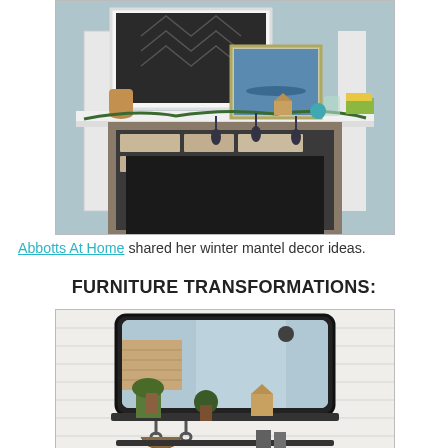[Figure (photo): A decorated fireplace mantel with a white surround, stone fireplace insert, garland with tassels, framed artwork, and various decorative objects on the mantel shelf, against a blue-gray wall.]
Abbotts At Home shared her winter mantel decor ideas.
FURNITURE TRANSFORMATIONS:
[Figure (photo): A modern industrial-style black metal mirror with a shelf attached to a white shiplap wall, with small potted plants on the shelf and hooks below, reflecting a room behind.]